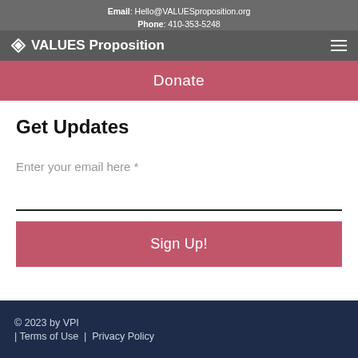Email: Hello@VALUESproposition.org
Phone: 410-353-5248
Registered Charity: 47-3462241
VALUES Proposition
Donate
Get Updates
Enter your email here *
Sign Up!
© 2023 by VPI
| Terms of Use | Privacy Policy